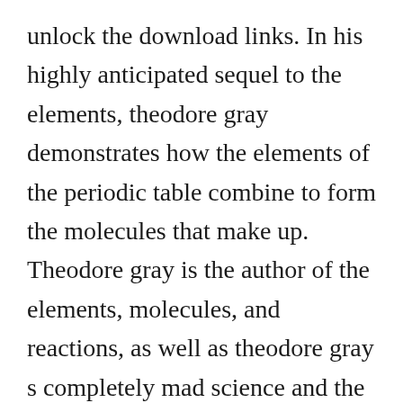unlock the download links. In his highly anticipated sequel to the elements, theodore gray demonstrates how the elements of the periodic table combine to form the molecules that make up. Theodore gray is the author of the elements, molecules, and reactions, as well as theodore gray s completely mad science and the forthcoming how things work. Theodore grays completely mad science by gray, theodore. Free download the periodic table book a visual encyclopedia of the elements in pdf from following download links. The website includes not just pictures